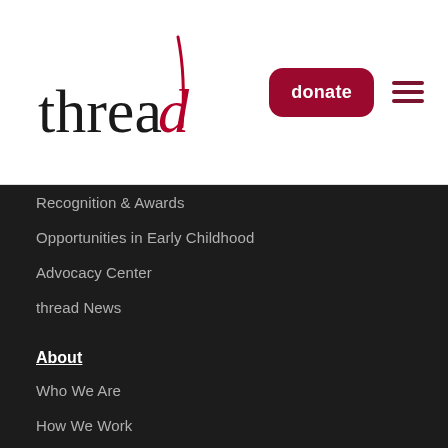[Figure (logo): thread logo with red stylized letter d]
Recognition & Awards
Opportunities in Early Childhood
Advocacy Center
thread News
About
Who We Are
How We Work
Where We Work
Why Us
What We Do
Where We're Going
Employment